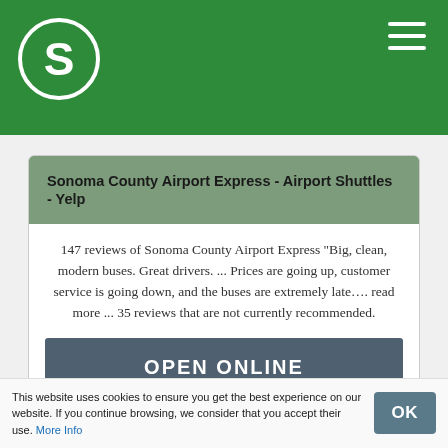[Figure (logo): Green circular logo with white letter S]
Sonoma County Airport Express - Airport Shuttles - Yelp
147 reviews of Sonoma County Airport Express "Big, clean, modern buses. Great drivers. ... Prices are going up, customer service is going down, and the buses are extremely late…. read more ... 35 reviews that are not currently recommended.
OPEN ONLINE
This website uses cookies to ensure you get the best experience on our website. If you continue browsing, we consider that you accept their use. More Info